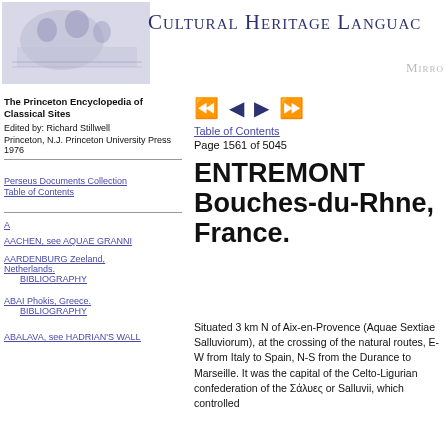Cultural Heritage Language [Mirror]
The Princeton Encyclopedia of Classical Sites
Edited by: Richard Stillwell
Princeton, N.J. Princeton University Press 1976
Table of Contents
Page 1561 of 5045
Perseus Documents Collection
Table of Contents
A
AACHEN, see AQUAE GRANNI
AARDENBURG Zeeland, Netherlands.
    BIBLIOGRAPHY
ABAI Phokis, Greece.
    BIBLIOGRAPHY
ABALAVA, see HADRIAN'S WALL
ENTREMONT Bouches-du-Rhne, France.
Situated 3 km N of Aix-en-Provence (Aquae Sextiae Salluviorum), at the crossing of the natural routes, E-W from Italy to Spain, N-S from the Durance to Marseille. It was the capital of the Celto-Ligurian confederation of the Σάλυες or Salluvii, which controlled